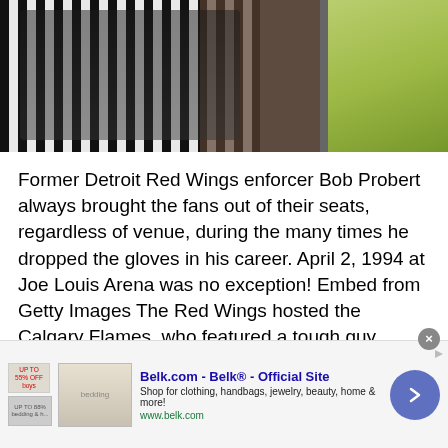[Figure (photo): Photo of a person in black and white striped referee or hockey jersey, with green/yellow object in background, cropped at top]
Former Detroit Red Wings enforcer Bob Probert always brought the fans out of their seats, regardless of venue, during the many times he dropped the gloves in his career. April 2, 1994 at Joe Louis Arena was no exception! Embed from Getty Images The Red Wings hosted the Calgary Flames, who featured a tough guy … Read more
[Figure (screenshot): Advertisement banner for Belk.com - Belk® - Official Site. Shop for clothing, handbags, jewelry, beauty, home & more! www.belk.com]